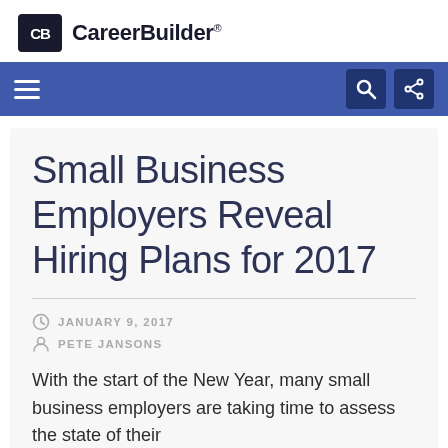CareerBuilder
Small Business Employers Reveal Hiring Plans for 2017
JANUARY 9, 2017
PETE JANSONS
With the start of the New Year, many small business employers are taking time to assess the state of their